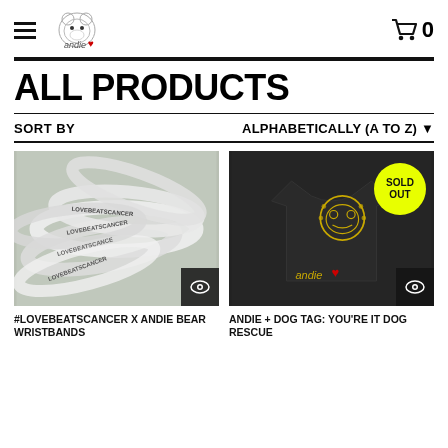andie♥ logo, hamburger menu, cart 0
ALL PRODUCTS
SORT BY   ALPHABETICALLY (A TO Z) ▾
[Figure (photo): Pile of white rubber wristbands with text LOVEBEATSCANCER and symbols printed on them, with a dark eye icon button in bottom right corner]
[Figure (photo): Black t-shirt with yellow illustrated dog skull/character graphic and 'andie♥' text, with a yellow SOLD OUT badge in top right corner and dark eye icon button in bottom right corner]
#LOVEBEATSCANCER X ANDIE BEAR WRISTBANDS
ANDIE + DOG TAG: YOU'RE IT DOG RESCUE